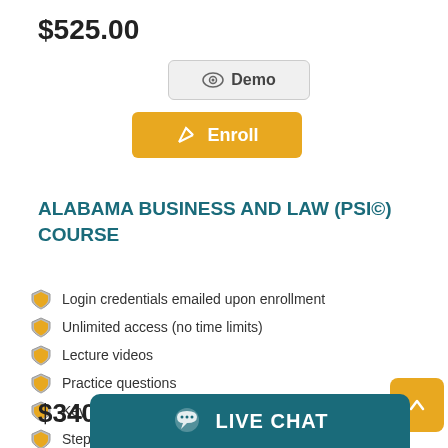$525.00
Demo
Enroll
ALABAMA BUSINESS AND LAW (PSI©) COURSE
Login credentials emailed upon enrollment
Unlimited access (no time limits)
Lecture videos
Practice questions
Key concepts
Step-by-step solutions to math problems
$340.00
LIVE CHAT